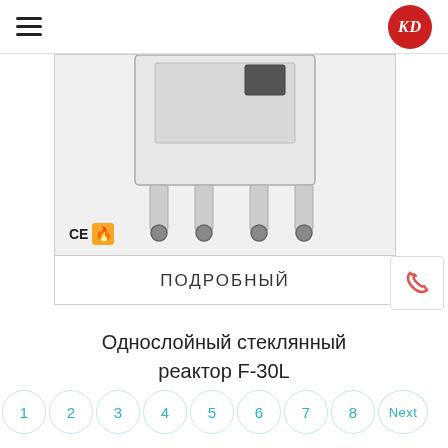KD logo and hamburger menu
[Figure (photo): Однослойный стеклянный реактор F-30L — лабораторное оборудование на колёсиках, вид снизу/сзади. Значки CE и огня.]
ПОДРОБНЫЙ
Однослойный стеклянный реактор F-30L
1 2 3 4 5 6 7 8 Next